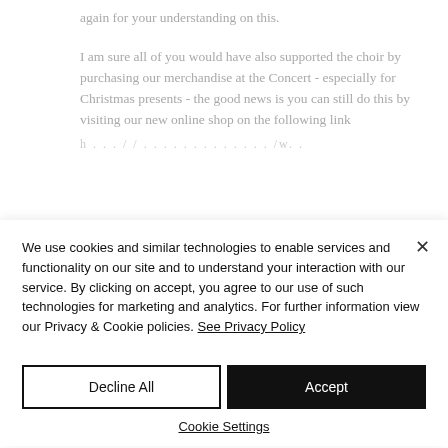again for your understanding on this.
I am sure all of you would have also supported the choir by purchasing our merchandise at the Concert - especially for Christmas presents - the good news is you can still do this by visiting our new online shop on the following link
We use cookies and similar technologies to enable services and functionality on our site and to understand your interaction with our service. By clicking on accept, you agree to our use of such technologies for marketing and analytics. For further information view our Privacy & Cookie policies. See Privacy Policy
Decline All
Accept
Cookie Settings